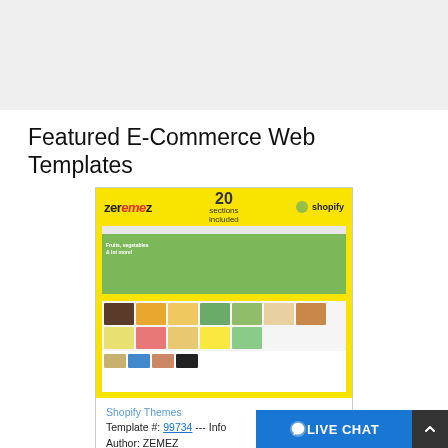Featured E-Commerce Web Templates
[Figure (screenshot): A Shopify e-commerce web template screenshot showing a grocery/food store with yellow branding, product grid images, and Shopify + Zemez branding in the header.]
Shopify Themes
Template #: 99734 --- Info
Author: ZEMEZ
Downloads: 10   CUSTOMIZE T...
LIVE CHAT